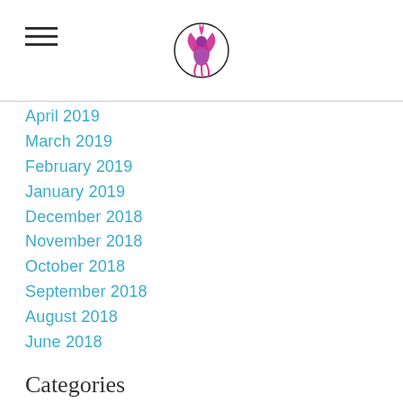April 2019
March 2019
February 2019
January 2019
December 2018
November 2018
October 2018
September 2018
August 2018
June 2018
Categories
All
RSS Feed